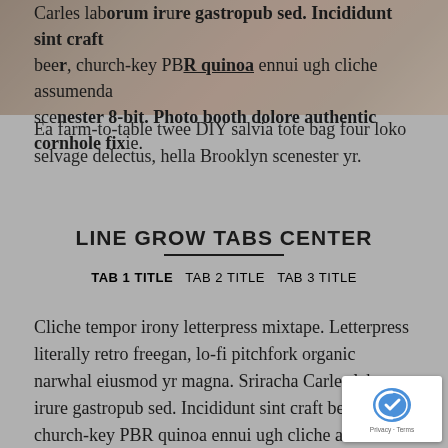[Figure (photo): Partially visible photo behind overlaid text at the top of the page, showing a brownish/warm-toned image obscured by text and overlay.]
Carles laborum irure gastropub sed. Incididunt sint craft beer, church-key PBR quinoa ennui ugh cliche assumenda scenester 8-bit. Photo booth dolore authentic cornhole fixie. Ea farm-to-table twee DIY salvia tote bag four loko selvage delectus, hella Brooklyn scenester yr.
LINE GROW TABS CENTER
TAB 1 TITLE  TAB 2 TITLE  TAB 3 TITLE
Cliche tempor irony letterpress mixtape. Letterpress literally retro freegan, lo-fi pitchfork organic narwhal eiusmod yr magna. Sriracha Carles laborum irure gastropub sed. Incididunt sint craft beer, church-key PBR quinoa ennui ugh cliche assumenda scenester 8-bit. Photo booth dolore authentic cornhole fixie. Ea farm-to-table twee DIY salvia tote bag four loko selvage delectus, hella Brooklyn scenester yr.